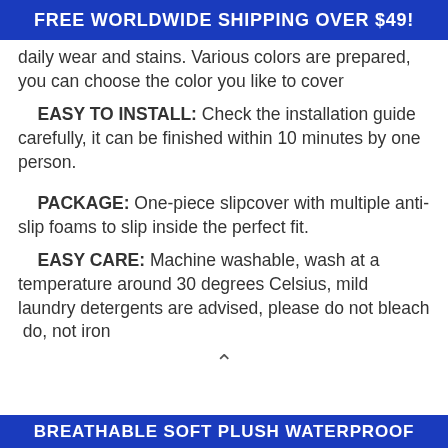FREE WORLDWIDE SHIPPING OVER $49!
daily wear and stains. Various colors are prepared, you can choose the color you like to cover
EASY TO INSTALL: Check the installation guide carefully, it can be finished within 10 minutes by one person.
PACKAGE: One-piece slipcover with multiple anti-slip foams to slip inside the perfect fit.
EASY CARE: Machine washable, wash at a temperature around 30 degrees Celsius, mild laundry detergents are advised, please do not bleach  do, not iron
BREATHABLE SOFT PLUSH WATERPROOF